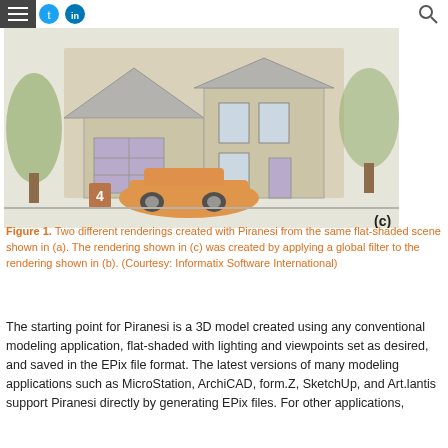Menu | Twitter | LinkedIn | Search
[Figure (illustration): Watercolor-style architectural rendering of a two-story house with an orange sports car in the driveway, labeled (c). Trees and a garden fence are visible.]
Figure 1. Two different renderings created with Piranesi from the same flat-shaded scene shown in (a). The rendering shown in (c) was created by applying a global filter to the rendering shown in (b). (Courtesy: Informatix Software International)
The starting point for Piranesi is a 3D model created using any conventional modeling application, flat-shaded with lighting and viewpoints set as desired, and saved in the EPix file format. The latest versions of many modeling applications such as MicroStation, ArchiCAD, form.Z, SketchUp, and Art.lantis support Piranesi directly by generating EPix files. For other applications,